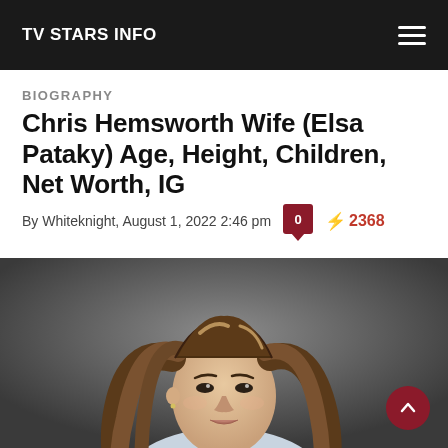TV STARS INFO
BIOGRAPHY
Chris Hemsworth Wife (Elsa Pataky) Age, Height, Children, Net Worth, IG
By Whiteknight, August 1, 2022 2:46 pm  0  ⚡ 2368
[Figure (photo): Portrait photo of Elsa Pataky, a woman with long wavy brown highlighted hair, looking over her shoulder, wearing a light blue top, against a grey background.]